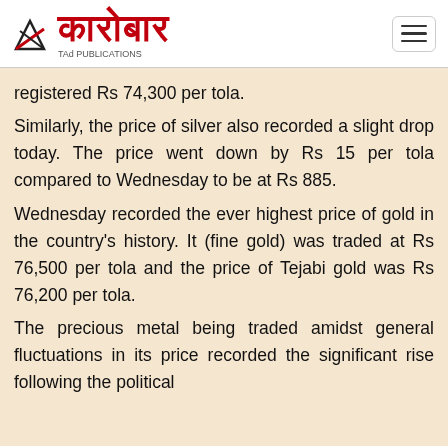कारोबार
registered Rs 74,300 per tola.
Similarly, the price of silver also recorded a slight drop today. The price went down by Rs 15 per tola compared to Wednesday to be at Rs 885.
Wednesday recorded the ever highest price of gold in the country's history. It (fine gold) was traded at Rs 76,500 per tola and the price of Tejabi gold was Rs 76,200 per tola.
The precious metal being traded amidst general fluctuations in its price recorded the significant rise following the political